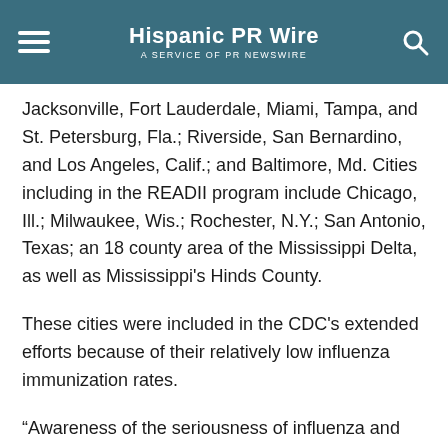Hispanic PR Wire — A SERVICE OF PR NEWSWIRE
Jacksonville, Fort Lauderdale, Miami, Tampa, and St. Petersburg, Fla.; Riverside, San Bernardino, and Los Angeles, Calif.; and Baltimore, Md. Cities including in the READII program include Chicago, Ill.; Milwaukee, Wis.; Rochester, N.Y.; San Antonio, Texas; an 18 county area of the Mississippi Delta, as well as Mississippi's Hinds County.
These cities were included in the CDC's extended efforts because of their relatively low influenza immunization rates.
“Awareness of the seriousness of influenza and the importance of vaccination is the first step in combating the disease,” said Dr. Walter A. Orenstein, Director of the CDC’s National Immunization Program. “Each year, 114,000 people in the